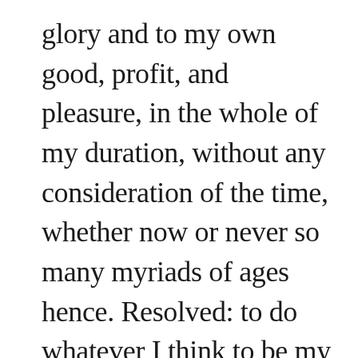glory and to my own good, profit, and pleasure, in the whole of my duration, without any consideration of the time, whether now or never so many myriads of ages hence. Resolved: to do whatever I think to be my duty, and most for the good and advantage of mankind in